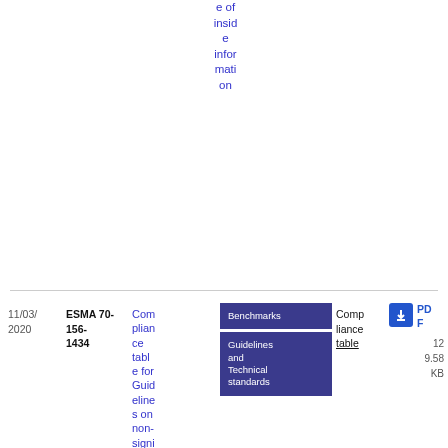e of inside information
| Date | Reference | Title | Tags | Compliance table | PDF |
| --- | --- | --- | --- | --- | --- |
| 11/03/2020 | ESMA 70-156-1434 | Compliance table for Guidelines on non-significant benchmarks | Benchmarks | Guidelines and Technical standards | Compliance table | PDF 9.58 KB 12 |